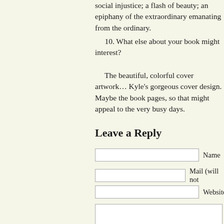social injustice; a flash of beauty; an epiphany of the extraordinary emanating from the ordinary.
10. What else about your book might interest?
The beautiful, colorful cover artwork… Kyle's gorgeous cover design. Maybe the book pages, so that might appeal to the very busy days.
Leave a Reply
Name
Mail (will not
Website